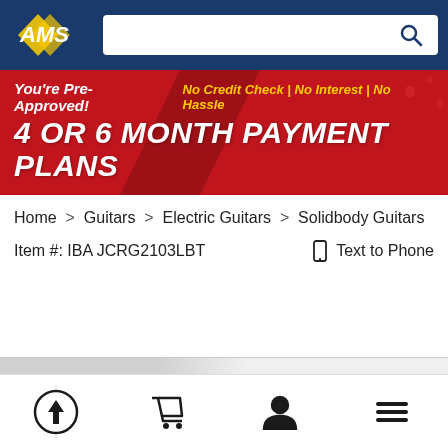[Figure (logo): AMS logo - yellow/white angled letters on blue background]
[Figure (screenshot): Search bar with magnifying glass icon on right]
[Figure (infographic): Red promotional banner: You're Pre-Approved! No Credit Check | No Interest | No Hassle / 4 OR 6 MONTH PAYMENT PLANS]
Home > Guitars > Electric Guitars > Solidbody Guitars
Item #: IBA JCRG2103LBT
Text to Phone
[Figure (infographic): Bottom navigation bar with four icons: upload/back-to-top arrow in circle, shopping cart, user/account, and hamburger menu]